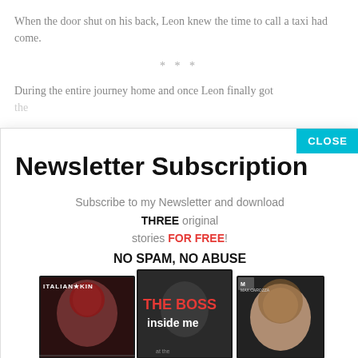When the door shut on his back, Leon knew the time to call a taxi had come.
* * *
During the entire journey home and once Leon finally got the...
Newsletter Subscription
Subscribe to my Newsletter and download THREE original stories FOR FREE! NO SPAM, NO ABUSE
[Figure (illustration): Three book covers: ITALIAN KIN (left), THE BOSS inside me (center, red text), and a third book by Max Carozza (right, showing a woman's face)]